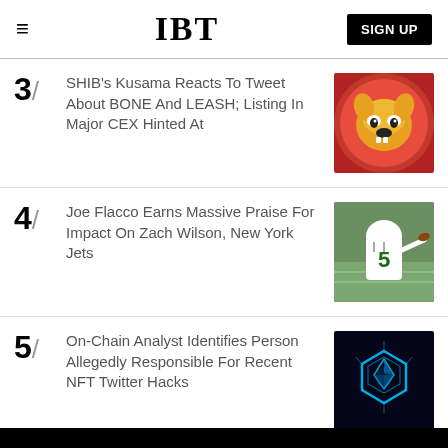IBT
3/ SHIB's Kusama Reacts To Tweet About BONE And LEASH; Listing In Major CEX Hinted At
4/ Joe Flacco Earns Massive Praise For Impact On Zach Wilson, New York Jets
5/ On-Chain Analyst Identifies Person Allegedly Responsible For Recent NFT Twitter Hacks